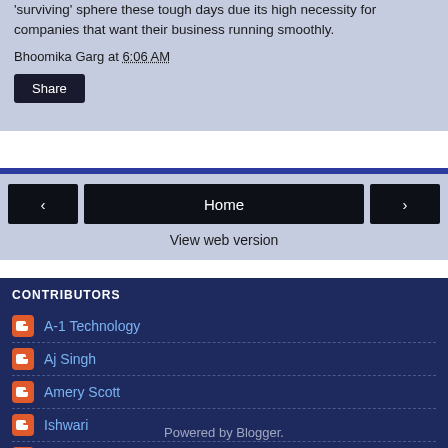'surviving' sphere these tough days due its high necessity for companies that want their business running smoothly.
Bhoomika Garg at 6:06 AM
Share
Home
View web version
CONTRIBUTORS
A-1 Technology
Aj Singh
Amery Scott
Ishwari
Rich
Powered by Blogger.